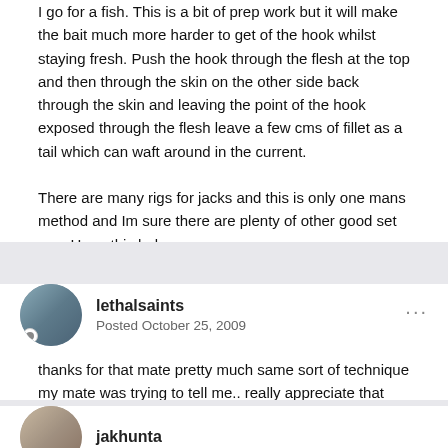I go for a fish. This is a bit of prep work but it will make the bait much more harder to get of the hook whilst staying fresh. Push the hook through the flesh at the top and then through the skin on the other side back through the skin and leaving the point of the hook exposed through the flesh leave a few cms of fillet as a tail which can waft around in the current.

There are many rigs for jacks and this is only one mans method and Im sure there are plenty of other good set ups. Hope this helps.
lethalsaints
Posted October 25, 2009
thanks for that mate pretty much same sort of technique my mate was trying to tell me.. really appreciate that bud, hopefully can return the favour one day cheers man.....
jakhunta